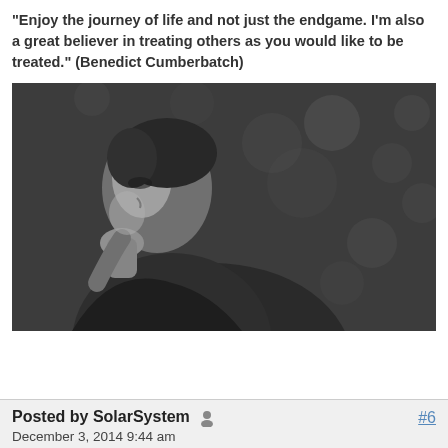"Enjoy the journey of life and not just the endgame. I'm also a great believer in treating others as you would like to be treated." (Benedict Cumberbatch)
[Figure (photo): Black and white photograph of a person in profile, appearing to be in a thoughtful pose with hand near chin, wearing dark clothing against a dark bokeh background]
Posted by SolarSystem  #6
December 3, 2014 9:44 am